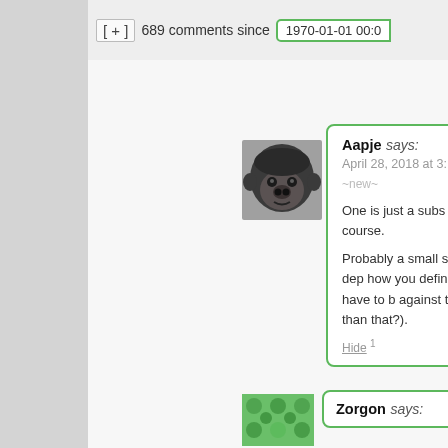[ + ]  689 comments since   1970-01-01 00:0
[Figure (photo): Gorilla avatar image for user Aapje]
Aapje says:
April 28, 2018 at 3:
~new~
One is just a subs other, of course.
Probably a small s although that dep how you define in they just have to b against their will c than that?).
Hide 1
[Figure (photo): Green pattern avatar image for user Zorgon]
Zorgon says: